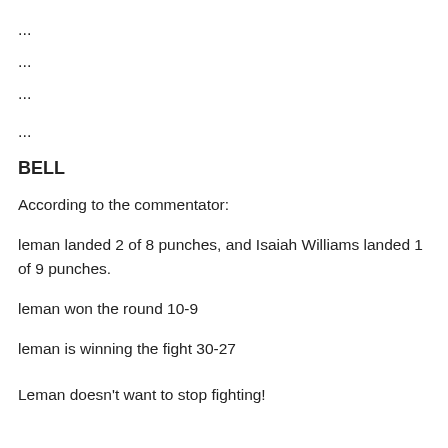...
...
...
...
BELL
According to the commentator:
leman landed 2 of 8 punches, and Isaiah Williams landed 1 of 9 punches.
leman won the round 10-9
leman is winning the fight 30-27
Leman doesn't want to stop fighting!